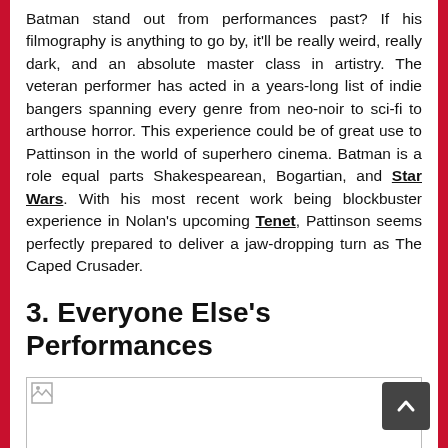Batman stand out from performances past? If his filmography is anything to go by, it'll be really weird, really dark, and an absolute master class in artistry. The veteran performer has acted in a years-long list of indie bangers spanning every genre from neo-noir to sci-fi to arthouse horror. This experience could be of great use to Pattinson in the world of superhero cinema. Batman is a role equal parts Shakespearean, Bogartian, and Star Wars. With his most recent work being blockbuster experience in Nolan's upcoming Tenet, Pattinson seems perfectly prepared to deliver a jaw-dropping turn as The Caped Crusader.
3. Everyone Else's Performances
[Figure (photo): Broken image placeholder with small image icon in top-left corner]